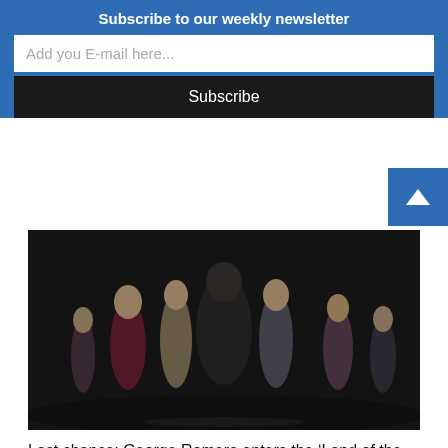Subscribe to our weekly newsletter
Add you E-mail here...
Subscribe
[Figure (photo): Group of people walking forward in a dark, moody scene, appearing to be zombies or dramatic characters from a horror film]
Last chance: George Romero enters the ‘Land of the Dead’ on Hulu